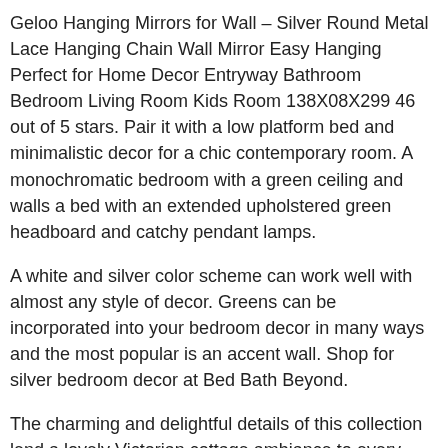Geloo Hanging Mirrors for Wall – Silver Round Metal Lace Hanging Chain Wall Mirror Easy Hanging Perfect for Home Decor Entryway Bathroom Bedroom Living Room Kids Room 138X08X299 46 out of 5 stars. Pair it with a low platform bed and minimalistic decor for a chic contemporary room. A monochromatic bedroom with a green ceiling and walls a bed with an extended upholstered green headboard and catchy pendant lamps.
A white and silver color scheme can work well with almost any style of decor. Greens can be incorporated into your bedroom decor in many ways and the most popular is an accent wall. Shop for silver bedroom decor at Bed Bath Beyond.
The charming and delightful details of this collection lend a lovely Victorian cottage ambiance to every young ladys bedroom space. Click the image for larger image size and more details. This is a great example of a simple country-style bedroom that uses soft fabrics and a piece of gorgeous heart-shaped natural wall decor.
Set of 3 Modern Silver Bowties Wall Decor – Olivia May. Shop for silver wall decor at Bed Bath Beyond. It can easily make sharp lines look